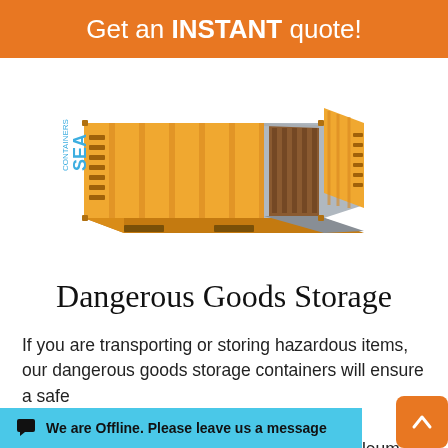Get an INSTANT quote!
[Figure (illustration): Yellow open-top/side shipping container (SEA Containers branded) with doors open showing interior, 3D illustration on white background]
Dangerous Goods Storage
If you are transporting or storing hazardous items, our dangerous goods storage containers will ensure a safe ... nsport petroleum
We are Offline. Please leave us a message